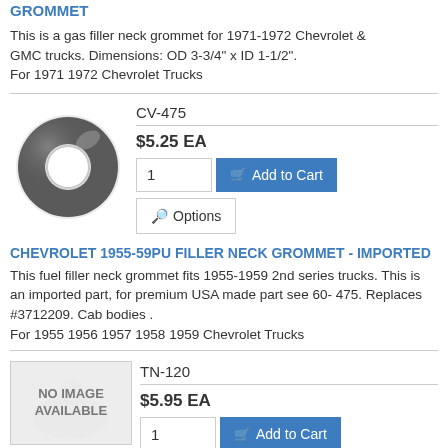GROMMET
This is a gas filler neck grommet for 1971-1972 Chevrolet & GMC trucks. Dimensions: OD 3-3/4" x ID 1-1/2".
For 1971 1972 Chevrolet Trucks
[Figure (photo): Photo of a rubber grommet ring, circular with a hole in the middle, dark grey/black color]
CV-475
$5.25 EA
1  Add to Cart
Options
CHEVROLET 1955-59PU FILLER NECK GROMMET - IMPORTED
This fuel filler neck grommet fits 1955-1959 2nd series trucks. This is an imported part, for premium USA made part see 60-475. Replaces #3712209. Cab bodies .
For 1955 1956 1957 1958 1959 Chevrolet Trucks
[Figure (photo): No Image Available placeholder with faint background image]
TN-120
$5.95 EA
1  Add to Cart